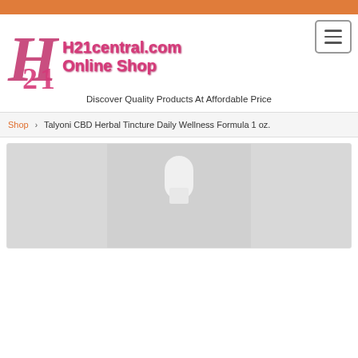[Figure (logo): H21central.com Online Shop logo with stylized H21 letter mark in pink/magenta and text reading H21central.com Online Shop]
Discover Quality Products At Affordable Price
Shop › Talyoni CBD Herbal Tincture Daily Wellness Formula 1 oz.
[Figure (photo): Product photo showing a white dropper bottle cap/top against a grey background]